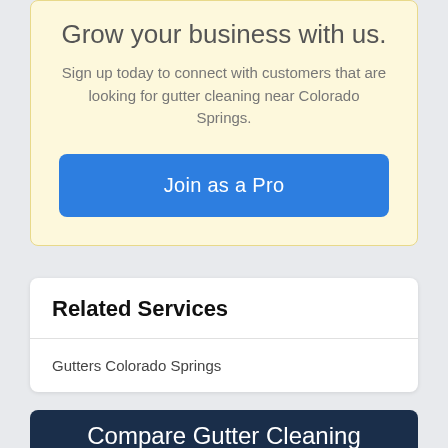Grow your business with us.
Sign up today to connect with customers that are looking for gutter cleaning near Colorado Springs.
Join as a Pro
Related Services
Gutters Colorado Springs
Compare Gutter Cleaning